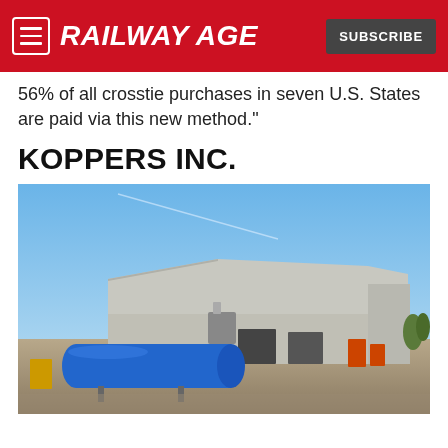RAILWAY AGE | SUBSCRIBE
56% of all crosstie purchases in seven U.S. States are paid via this new method."
KOPPERS INC.
[Figure (photo): Industrial facility with a large blue cylindrical tank in the foreground and a large grey warehouse/manufacturing building in the background under a clear blue sky.]